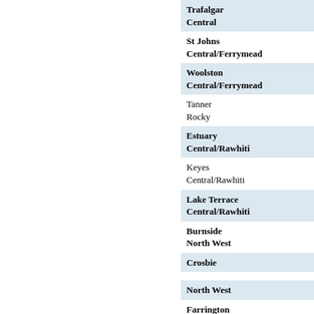| Name / Ward | Count | Description |
| --- | --- | --- |
| Trafalgar
Central | 1 / 3 | Minor works to make abov… |
| St Johns
Central/Ferrymead | 1 / 3 | Minor works to make abov… |
| Woolston
Central/Ferrymead | 1 / 3 | Minor works to make abov… |
| Tanner
Rocky | 1 / 2 | Minor works to make abov… |
| Estuary
Central/Rawhiti | 2 / 2 | Minor works to make abov… |
| Keyes
Central/Rawhiti | 3 / 3 | Minor works to make abov… |
| Lake Terrace
Central/Rawhiti | 2 / 3 | Minor works to make abov… |
| Burnside
North West | 6 / 6 | Minor works to make abov…
and raise below ground we… |
| Crosbie | 1 / 3 | Minor works to make abov… |
| North West |  |  |
| Farrington | 1 / 5 | Minor works to make abov… |